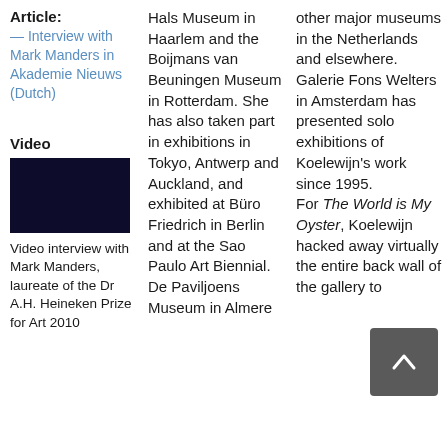Article:
— Interview with Mark Manders in Akademie Nieuws (Dutch)
Video
[Figure (photo): Dark navy/black video thumbnail]
Video interview with Mark Manders, laureate of the Dr A.H. Heineken Prize for Art 2010
Hals Museum in Haarlem and the Boijmans van Beuningen Museum in Rotterdam. She has also taken part in exhibitions in Tokyo, Antwerp and Auckland, and exhibited at Büro Friedrich in Berlin and at the Sao Paulo Art Biennial. De Paviljoens Museum in Almere
other major museums in the Netherlands and elsewhere. Galerie Fons Welters in Amsterdam has presented solo exhibitions of Koelewijn's work since 1995. For The World is My Oyster, Koelewijn hacked away virtually the entire back wall of the gallery to